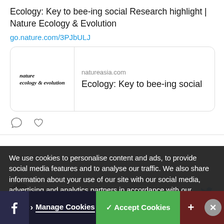Ecology: Key to bee-ing social Research highlight | Nature Ecology & Evolution
go.nature.com/3PJbULJ
[Figure (screenshot): Link preview card with Nature Ecology & Evolution logo on left, and text 'natureasia.com' and 'Ecology: Key to bee-ing social' on right]
Sociology: Fully remote work reduced cross group connections between... Research highlight | Nature...
We use cookies to personalise content and ads, to provide social media features and to analyse our traffic. We also share information about your use of our site with our social media, advertising and analytics partners in accordance with our Privacy Policy. You can manage your preferences in 'Manage Cookies'.
Manage Cookies
✓ Accept Cookies